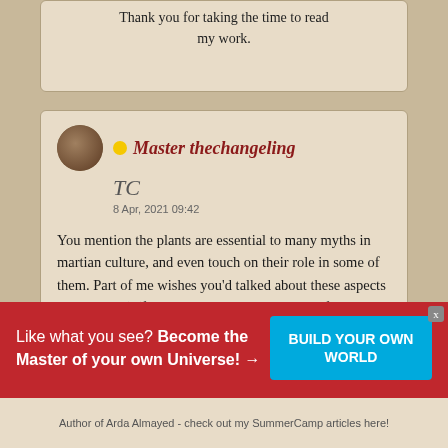Thank you for taking the time to read my work.
Master thechangeling
TC
8 Apr, 2021 09:42

You mention the plants are essential to many myths in martian culture, and even touch on their role in some of them. Part of me wishes you'd talked about these aspects even more :') (for instance, a short summary of an actual
Like what you see? Become the Master of your own Universe! →
BUILD YOUR OWN WORLD
Author of Arda Almayed - check out my SummerCamp articles here!